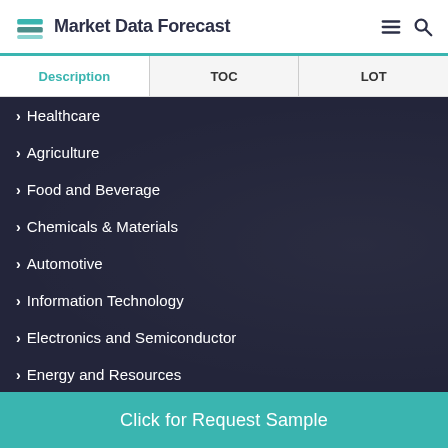Market Data Forecast
| Description | TOC | LOT |
| --- | --- | --- |
Healthcare
Agriculture
Food and Beverage
Chemicals & Materials
Automotive
Information Technology
Electronics and Semiconductor
Energy and Resources
Click for Request Sample